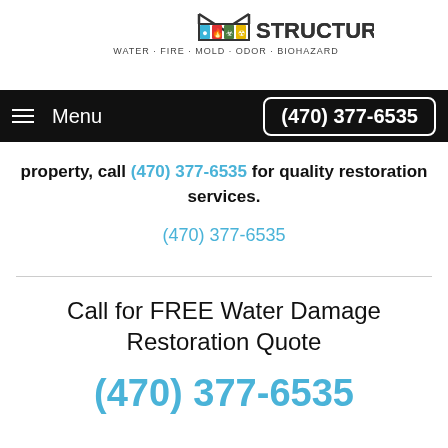[Figure (logo): StructureMedic logo with colored icons and tagline WATER · FIRE · MOLD · ODOR · BIOHAZARD]
Menu  (470) 377-6535
property, call (470) 377-6535 for quality restoration services.
(470) 377-6535
Call for FREE Water Damage Restoration Quote
(470) 377-6535